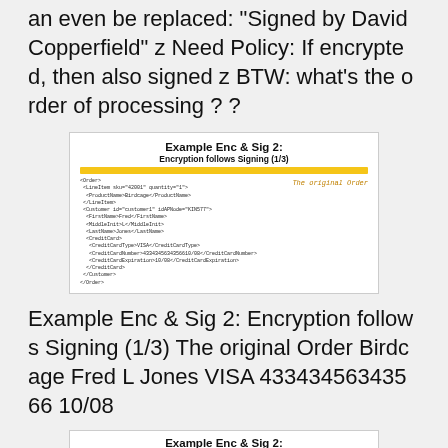an even be replaced: "Signed by David Copperfield" z Need Policy: If encrypted, then also signed z BTW: what's the order of processing ? ?
[Figure (screenshot): Slide titled 'Example Enc & Sig 2: Encryption follows Signing (1/3)' with a yellow highlight bar and XML code showing an Order document with LineItem, Customer, and CreditCard elements. Label 'The original Order' appears to the right.]
Example Enc & Sig 2: Encryption follows Signing (1/3) The original Order Birdcage Fred L Jones VISA 433434563435 66 10/08
[Figure (screenshot): Slide header for 'Example Enc & Sig 2: Encryption follows Signing (2/3)' with yellow highlight bar, partially visible at bottom.]